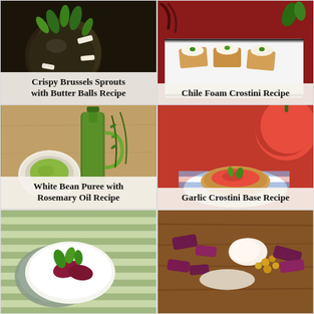[Figure (photo): Crispy Brussels sprouts with white butter balls and green herb leaves on a dark background]
Crispy Brussels Sprouts with Butter Balls Recipe
[Figure (photo): Chile Foam Crostini appetizers on a white plate with dried chili peppers and herbs on red background]
Chile Foam Crostini Recipe
[Figure (photo): Green herb oil in a glass bottle with white bean puree in a small bowl on wooden background]
White Bean Puree with Rosemary Oil Recipe
[Figure (photo): Garlic crostini base with tomato topping in a bread bowl on white plate with red cloth and tomato]
Garlic Crostini Base Recipe
[Figure (photo): Food dish with green mint leaves and red beets on striped cloth]
[Figure (photo): Colorful food dish with beets and cream on wooden board]